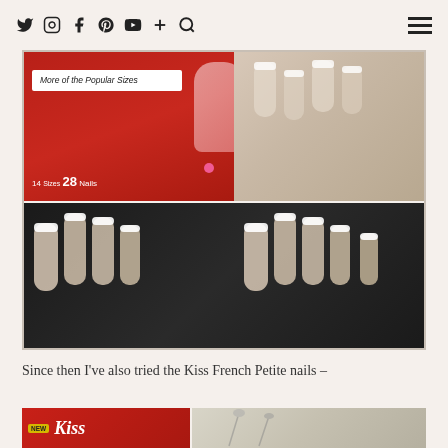Social media icons: Twitter, Instagram, Facebook, Pinterest, YouTube, Plus, Search | Hamburger menu
[Figure (photo): Top half: Kiss French nail product box showing 'More of the Popular Sizes' and '14 Sizes 28 Nails' with red packaging, alongside photo of bare hand with French-tipped nails. Bottom half: Two hands with French manicure nails against black background.]
Since then I've also tried the Kiss French Petite nails –
[Figure (photo): Bottom row: Left shows Kiss brand red packaging with 'NEW' label. Right shows partial photo with floral/nature background.]